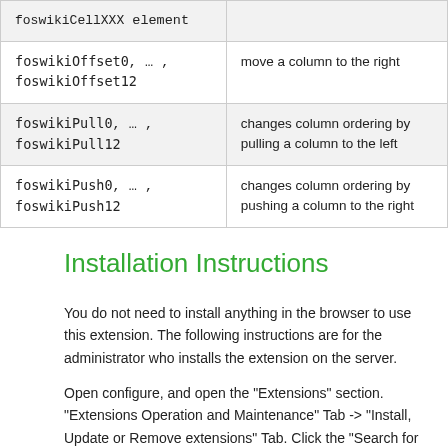| CSS class | Description |
| --- | --- |
| foswikiCellXXX element |  |
| foswikiOffset0, …, foswikiOffset12 | move a column to the right |
| foswikiPull0, …, foswikiPull12 | changes column ordering by pulling a column to the left |
| foswikiPush0, …, foswikiPush12 | changes column ordering by pushing a column to the right |
Installation Instructions
You do not need to install anything in the browser to use this extension. The following instructions are for the administrator who installs the extension on the server.
Open configure, and open the "Extensions" section. "Extensions Operation and Maintenance" Tab -> "Install, Update or Remove extensions" Tab. Click the "Search for Extensions" button. Enter part of the extension name or description and press search. Select the desired extension(s) and click install. If your extension is already installed, it will...